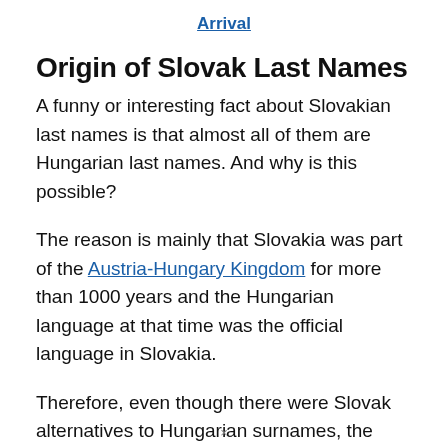Arrival
Origin of Slovak Last Names
A funny or interesting fact about Slovakian last names is that almost all of them are Hungarian last names. And why is this possible?
The reason is mainly that Slovakia was part of the Austria-Hungary Kingdom for more than 1000 years and the Hungarian language at that time was the official language in Slovakia.
Therefore, even though there were Slovak alternatives to Hungarian surnames, the Hungarian
×